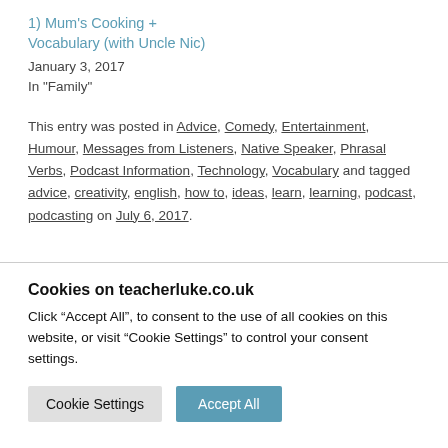1) Mum's Cooking + Vocabulary (with Uncle Nic)
January 3, 2017
In "Family"
This entry was posted in Advice, Comedy, Entertainment, Humour, Messages from Listeners, Native Speaker, Phrasal Verbs, Podcast Information, Technology, Vocabulary and tagged advice, creativity, english, how to, ideas, learn, learning, podcast, podcasting on July 6, 2017.
Cookies on teacherluke.co.uk
Click “Accept All”, to consent to the use of all cookies on this website, or visit “Cookie Settings” to control your consent settings.